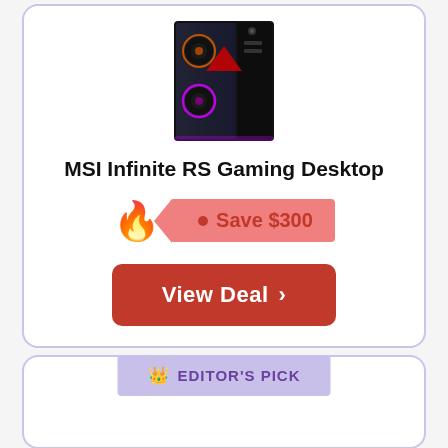[Figure (photo): MSI Infinite RS Gaming Desktop PC tower with RGB lighting, black case with tempered glass side panel]
MSI Infinite RS Gaming Desktop
🔥 Save $300
View Deal ›
👑 EDITOR'S PICK